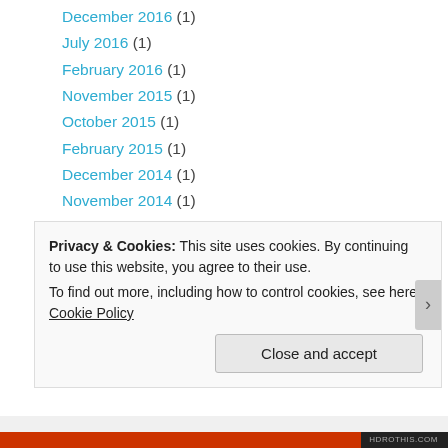December 2016 (1)
July 2016 (1)
February 2016 (1)
November 2015 (1)
October 2015 (1)
February 2015 (1)
December 2014 (1)
November 2014 (1)
October 2014 (1)
August 2014 (2)
July 2014 (3)
June 2014 (5)
May 2014 (2)
Privacy & Cookies: This site uses cookies. By continuing to use this website, you agree to their use. To find out more, including how to control cookies, see here: Cookie Policy
Close and accept